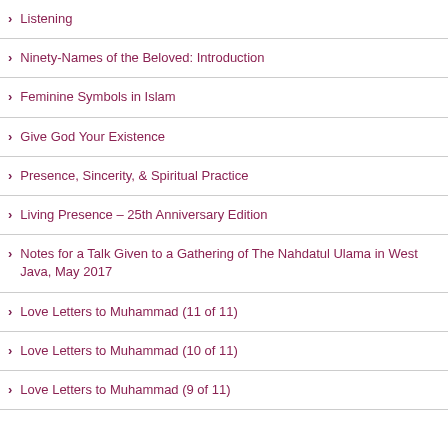Listening
Ninety-Names of the Beloved: Introduction
Feminine Symbols in Islam
Give God Your Existence
Presence, Sincerity, & Spiritual Practice
Living Presence – 25th Anniversary Edition
Notes for a Talk Given to a Gathering of The Nahdatul Ulama in West Java, May 2017
Love Letters to Muhammad (11 of 11)
Love Letters to Muhammad (10 of 11)
Love Letters to Muhammad (9 of 11)